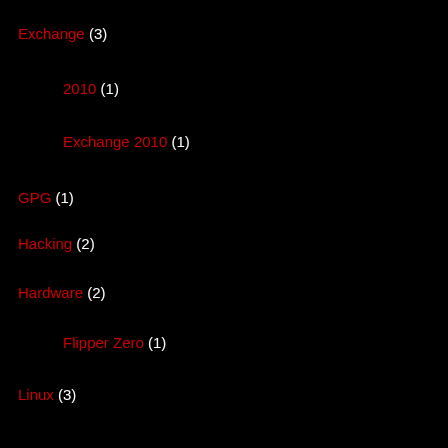Exchange (3)
2010 (1)
Exchange 2010 (1)
GPG (1)
Hacking (2)
Hardware (2)
Flipper Zero (1)
Linux (3)
Ubuntu (3)
Microsoft – General (15)
Microsoft Security Essentials (1)
Windows Live Essentials (1)
Office (3)
Office 2007 (1)